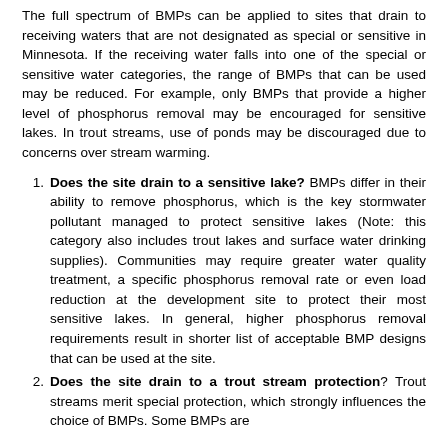The full spectrum of BMPs can be applied to sites that drain to receiving waters that are not designated as special or sensitive in Minnesota. If the receiving water falls into one of the special or sensitive water categories, the range of BMPs that can be used may be reduced. For example, only BMPs that provide a higher level of phosphorus removal may be encouraged for sensitive lakes. In trout streams, use of ponds may be discouraged due to concerns over stream warming.
Does the site drain to a sensitive lake? BMPs differ in their ability to remove phosphorus, which is the key stormwater pollutant managed to protect sensitive lakes (Note: this category also includes trout lakes and surface water drinking supplies). Communities may require greater water quality treatment, a specific phosphorus removal rate or even load reduction at the development site to protect their most sensitive lakes. In general, higher phosphorus removal requirements result in shorter list of acceptable BMP designs that can be used at the site.
Does the site drain to a trout stream protection? Trout streams merit special protection, which strongly influences the choice of BMPs. Some BMPs are